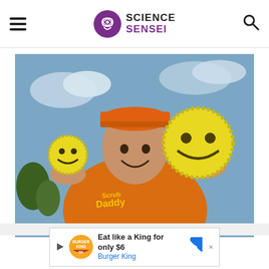Science Sensei
[Figure (photo): Man in orange Scrub Daddy t-shirt smiling and holding two yellow smiley-face scrubber sponges (Scrub Daddy brand), one small in left hand and one large in right hand, outdoors with blue sky background.]
Advertisement
[Figure (screenshot): Burger King advertisement banner reading 'Eat like a King for only $6 / Burger King' with Burger King logo on left and a blue diamond-shaped arrow icon on right.]